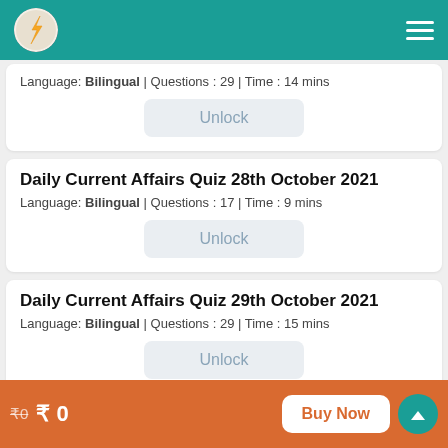Testbook app header with logo and hamburger menu
Language: Bilingual | Questions : 29 | Time : 14 mins
Unlock
Daily Current Affairs Quiz 28th October 2021
Language: Bilingual | Questions : 17 | Time : 9 mins
Unlock
Daily Current Affairs Quiz 29th October 2021
Language: Bilingual | Questions : 29 | Time : 15 mins
Unlock
₹0  ₹ 0   Buy Now